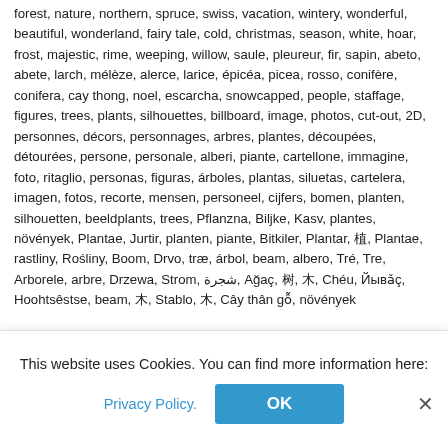forest, nature, northern, spruce, swiss, vacation, wintery, wonderful, beautiful, wonderland, fairy tale, cold, christmas, season, white, hoar, frost, majestic, rime, weeping, willow, saule, pleureur, fir, sapin, abeto, abete, larch, mélèze, alerce, larice, épicéa, picea, rosso, conifère, conifera, cay thong, noel, escarcha, snowcapped, people, staffage, figures, trees, plants, silhouettes, billboard, image, photos, cut-out, 2D, personnes, décors, personnages, arbres, plantes, découpées, détourées, persone, personale, alberi, piante, cartellone, immagine, foto, ritaglio, personas, figuras, árboles, plantas, siluetas, cartelera, imagen, fotos, recorte, mensen, personeel, cijfers, bomen, planten, silhouetten, beeldplants, trees, Pflanzna, Biljke, Kasv, plantes, növények, Plantae, Jurtir, planten, piante, Bitkiler, Plantar, 植, Plantae, rastliny, Rośliny, Boom, Drvo, træ, árbol, beam, albero, Tré, Tre, Arborele, arbre, Drzewa, Strom, شجرة, Ağaç, 树, 木, Chéu, Йывăç, Hoohtsêstse, beam, 木, Stablo, 木, Cây thân gỗ, növények
Related products
This website uses Cookies. You can find more information here:
Privacy Policy.
OK